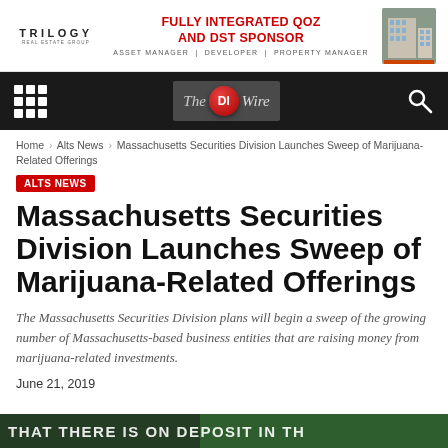[Figure (other): Trilogy Real Estate Group advertisement banner: FULLY INTEGRATED QOZ AND DST SPONSOR — ASSET MANAGER | DEVELOPER | PROPERTY MANAGER]
[Figure (logo): The DI Wire navigation bar logo on dark background with search and grid icons]
Home > Alts News > Massachusetts Securities Division Launches Sweep of Marijuana-Related Offerings
ALTS NEWS
Massachusetts Securities Division Launches Sweep of Marijuana-Related Offerings
The Massachusetts Securities Division plans will begin a sweep of the growing number of Massachusetts-based business entities that are raising money from marijuana-related investments.
June 21, 2019
[Figure (photo): Partial bottom image strip with text beginning 'THAT THERE IS ON DEPOSIT IN TH...' on a green background]